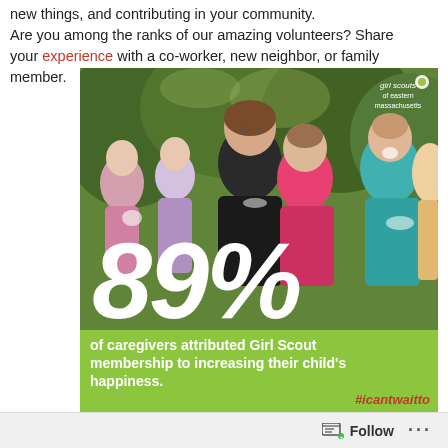new things, and contributing in your community. Are you among the ranks of our amazing volunteers? Share your experience with a co-worker, new neighbor, or family member.
[Figure (infographic): Photo of a group of young girls in swimsuits at what appears to be a summer camp, smiling and posing. Overlaid large white text reads '89%'. A green bar at the bottom reads 'of caregivers attributed Girl Scout membership to increasing their child's happiness.' with hashtag #icantwaitto. Girl Scouts of eastern massachusetts logo in top right corner.]
Follow ...